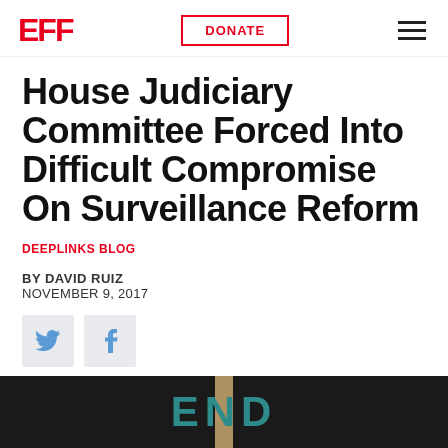EFF | DONATE | menu
House Judiciary Committee Forced Into Difficult Compromise On Surveillance Reform
DEEPLINKS BLOG
BY DAVID RUIZ
NOVEMBER 9, 2017
[Figure (other): Twitter and Facebook social sharing icons]
[Figure (photo): Dark background image showing the text 'END' in teal letters with a vertical stripe]